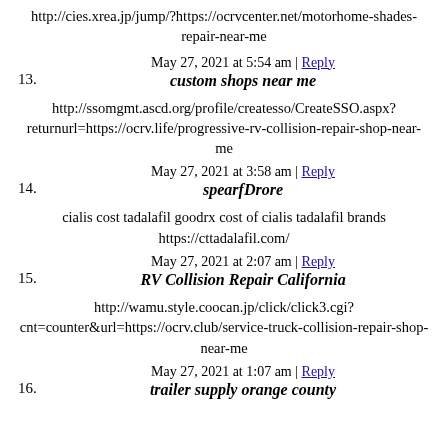http://cies.xrea.jp/jump/?https://ocrvcenter.net/motorhome-shades-repair-near-me
13. May 27, 2021 at 5:54 am | Reply
custom shops near me
http://ssomgmt.ascd.org/profile/createsso/CreateSSO.aspx?returnurl=https://ocrv.life/progressive-rv-collision-repair-shop-near-me
14. May 27, 2021 at 3:58 am | Reply
spearfDrore
cialis cost tadalafil goodrx cost of cialis tadalafil brands https://cttadalafil.com/
15. May 27, 2021 at 2:07 am | Reply
RV Collision Repair California
http://wamu.style.coocan.jp/click/click3.cgi?cnt=counter&url=https://ocrv.club/service-truck-collision-repair-shop-near-me
16. May 27, 2021 at 1:07 am | Reply
trailer supply orange county